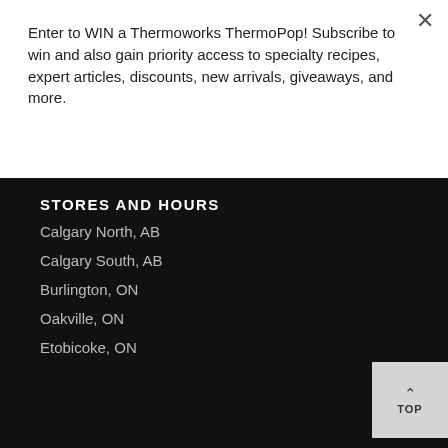Enter to WIN a Thermoworks ThermoPop! Subscribe to win and also gain priority access to specialty recipes, expert articles, discounts, new arrivals, giveaways, and more.
Join The Fun
STORES AND HOURS
Calgary North, AB
Calgary South, AB
Burlington, ON
Oakville, ON
Etobicoke, ON